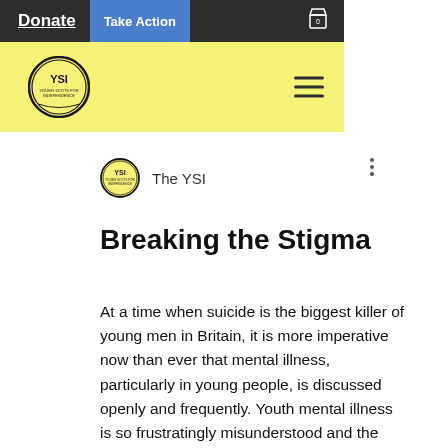Donate  Take Action
[Figure (logo): YSI (Young Scots for Independence) circular logo in yellow header bar with hamburger menu]
The YSI
Breaking the Stigma
At a time when suicide is the biggest killer of young men in Britain, it is more imperative now than ever that mental illness, particularly in young people, is discussed openly and frequently. Youth mental illness is so frustratingly misunderstood and the consequences are devastating. Negative feelings are often put down to typical teenage hormones